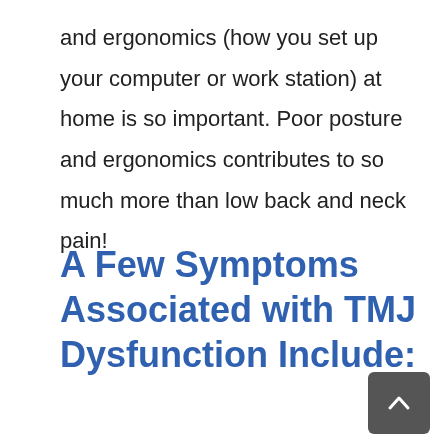and ergonomics (how you set up your computer or work station) at home is so important. Poor posture and ergonomics contributes to so much more than low back and neck pain!
A Few Symptoms Associated with TMJ Dysfunction Include: